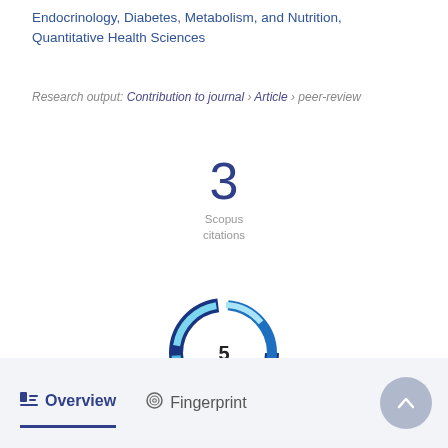Endocrinology, Diabetes, Metabolism, and Nutrition, Quantitative Health Sciences
Research output: Contribution to journal › Article › peer-review
[Figure (infographic): Scopus citations count showing '3' in large blue numeral with 'Scopus citations' label below]
[Figure (infographic): Altmetric donut badge showing score of 5 with blue swirl design]
Overview   Fingerprint